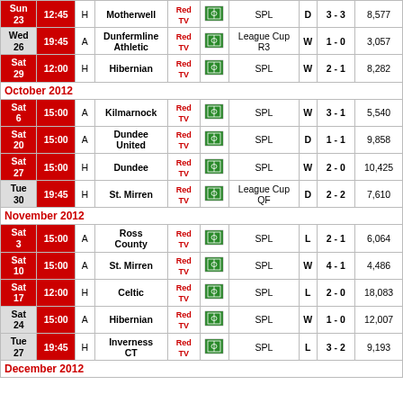| Date | Time | H/A | Opponent | TV | Stream | Competition | R | Score | Att |
| --- | --- | --- | --- | --- | --- | --- | --- | --- | --- |
| Sun 23 | 12:45 | H | Motherwell | Red TV |  | SPL | D | 3 - 3 | 8,577 |
| Wed 26 | 19:45 | A | Dunfermline Athletic | Red TV |  | League Cup R3 | W | 1 - 0 | 3,057 |
| Sat 29 | 12:00 | H | Hibernian | Red TV |  | SPL | W | 2 - 1 | 8,282 |
| October 2012 |  |  |  |  |  |  |  |  |  |
| Sat 6 | 15:00 | A | Kilmarnock | Red TV |  | SPL | W | 3 - 1 | 5,540 |
| Sat 20 | 15:00 | A | Dundee United | Red TV |  | SPL | D | 1 - 1 | 9,858 |
| Sat 27 | 15:00 | H | Dundee | Red TV |  | SPL | W | 2 - 0 | 10,425 |
| Tue 30 | 19:45 | H | St. Mirren | Red TV |  | League Cup QF | D | 2 - 2 | 7,610 |
| November 2012 |  |  |  |  |  |  |  |  |  |
| Sat 3 | 15:00 | A | Ross County | Red TV |  | SPL | L | 2 - 1 | 6,064 |
| Sat 10 | 15:00 | A | St. Mirren | Red TV |  | SPL | W | 4 - 1 | 4,486 |
| Sat 17 | 12:00 | H | Celtic | Red TV |  | SPL | L | 2 - 0 | 18,083 |
| Sat 24 | 15:00 | A | Hibernian | Red TV |  | SPL | W | 1 - 0 | 12,007 |
| Tue 27 | 19:45 | H | Inverness CT | Red TV |  | SPL | L | 3 - 2 | 9,193 |
| December 2012 |  |  |  |  |  |  |  |  |  |